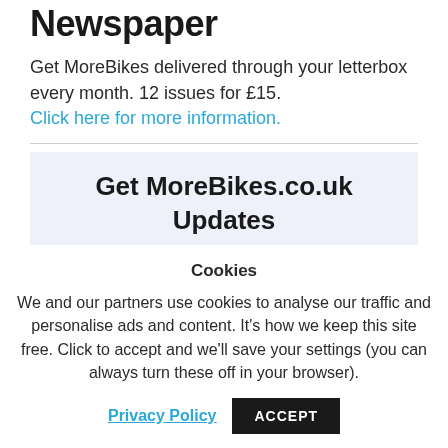Newspaper
Get MoreBikes delivered through your letterbox every month. 12 issues for £15. Click here for more information.
Get MoreBikes.co.uk Updates
Cookies
We and our partners use cookies to analyse our traffic and personalise ads and content. It's how we keep this site free. Click to accept and we'll save your settings (you can always turn these off in your browser).
Privacy Policy  ACCEPT